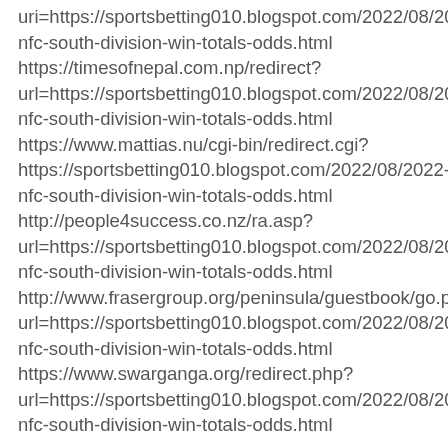uri=https://sportsbetting010.blogspot.com/2022/08/2022-nfc-south-division-win-totals-odds.html https://timesofnepal.com.np/redirect?url=https://sportsbetting010.blogspot.com/2022/08/2022-nfc-south-division-win-totals-odds.html https://www.mattias.nu/cgi-bin/redirect.cgi?https://sportsbetting010.blogspot.com/2022/08/2022-nfc-south-division-win-totals-odds.html http://people4success.co.nz/ra.asp?url=https://sportsbetting010.blogspot.com/2022/08/2022-nfc-south-division-win-totals-odds.html http://www.frasergroup.org/peninsula/guestbook/go.php?url=https://sportsbetting010.blogspot.com/2022/08/2022-nfc-south-division-win-totals-odds.html https://www.swarganga.org/redirect.php?url=https://sportsbetting010.blogspot.com/2022/08/2022-nfc-south-division-win-totals-odds.html